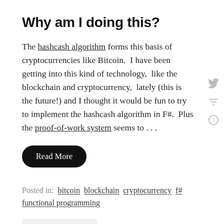Why am I doing this?
The hashcash algorithm forms this basis of cryptocurrencies like Bitcoin.  I have been getting into this kind of technology,  like the blockchain and cryptocurrency,  lately (this is the future!) and I thought it would be fun to try to implement the hashcash algorithm in F#.  Plus the proof-of-work system seems to . . .
Read More
Posted in:  bitcoin  blockchain  cryptocurrency  f#  functional programming
August 05, 2017